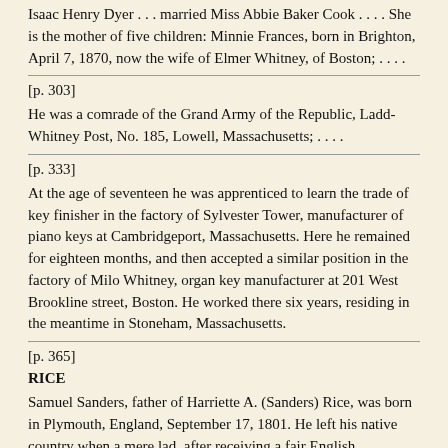Isaac Henry Dyer . . . married Miss Abbie Baker Cook . . . . She is the mother of five children: Minnie Frances, born in Brighton, April 7, 1870, now the wife of Elmer Whitney, of Boston; . . . .
[p. 303]
He was a comrade of the Grand Army of the Republic, Ladd-Whitney Post, No. 185, Lowell, Massachusetts; . . . .
[p. 333]
At the age of seventeen he was apprenticed to learn the trade of key finisher in the factory of Sylvester Tower, manufacturer of piano keys at Cambridgeport, Massachusetts. Here he remained for eighteen months, and then accepted a similar position in the factory of Milo Whitney, organ key manufacturer at 201 West Brookline street, Boston. He worked there six years, residing in the meantime in Stoneham, Massachusetts.
[p. 365]
RICE
Samuel Sanders, father of Harriette A. (Sanders) Rice, was born in Plymouth, England, September 17, 1801. He left his native country when a mere lad, after receiving a fair English education, and landed in Boston, and drifted thence to Cambridge to find a congenial home within his means. He learned the carpenter's trade in Boston, and walked the distance from his home to his work, carrying his tools in a bag flung over